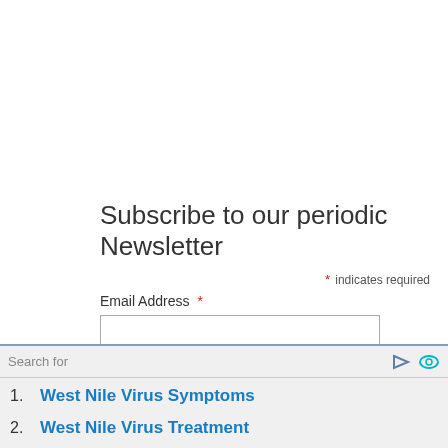Subscribe to our periodic Newsletter
* indicates required
Email Address *
Subscribe
Search for
1. West Nile Virus Symptoms
2. West Nile Virus Treatment